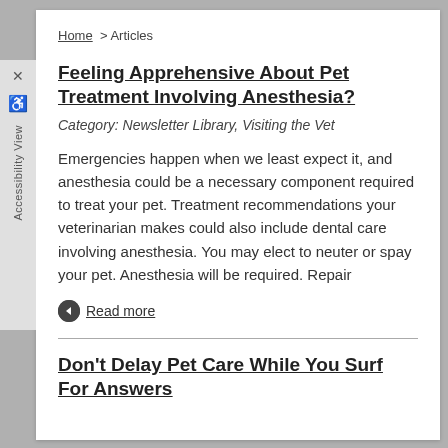Home > Articles
Feeling Apprehensive About Pet Treatment Involving Anesthesia?
Category: Newsletter Library, Visiting the Vet
Emergencies happen when we least expect it, and anesthesia could be a necessary component required to treat your pet. Treatment recommendations your veterinarian makes could also include dental care involving anesthesia. You may elect to neuter or spay your pet. Anesthesia will be required. Repair
Read more
Don't Delay Pet Care While You Surf For Answers